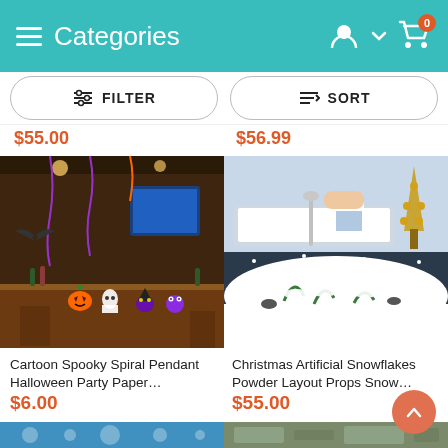Categories
FILTER  SORT
$55.00  $56.99
[Figure (photo): Halloween bar scene with cartoon spooky characters hanging from ceiling]
Cartoon Spooky Spiral Pendant Halloween Party Paper…
$6.00
[Figure (photo): Christmas artificial snow scene with child's hand and plant covered in snow]
Christmas Artificial Snowflakes Powder Layout Props Snow…
$55.00
[Figure (photo): Partially visible product thumbnail at bottom left]
[Figure (photo): Partially visible product thumbnail at bottom right]